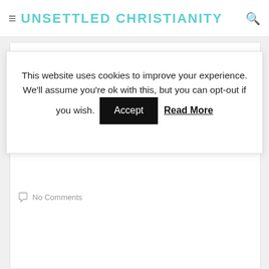UNSETTLED CHRISTIANITY
This website uses cookies to improve your experience. We'll assume you're ok with this, but you can opt-out if you wish. Accept  Read More
No Comments